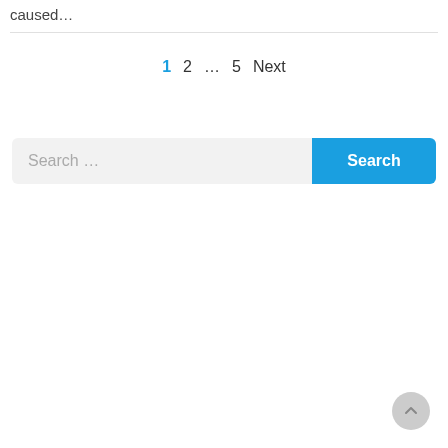caused…
1  2  ...  5  Next
[Figure (screenshot): Search input field with placeholder text 'Search ...' and a blue 'Search' button]
[Figure (other): Scroll-to-top circular button in bottom right corner]